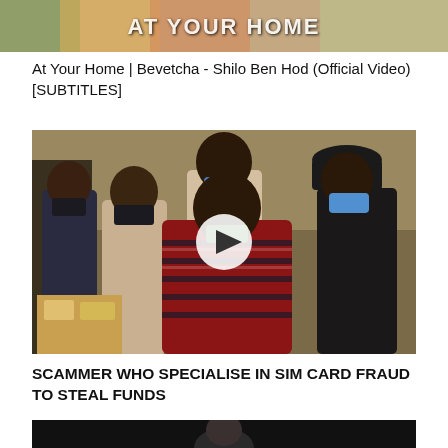[Figure (photo): Top portion of a video thumbnail with colorful background, partially visible text overlay reading 'AT YOUR HOME']
At Your Home | Bevetcha - Shilo Ben Hod (Official Video) [SUBTITLES]
[Figure (photo): Video thumbnail showing a group of people wearing face masks outdoors, with a man in a red and black striped shirt in the foreground. A play button is overlaid in the center.]
SCAMMER WHO SPECIALISE IN SIM CARD FRAUD TO STEAL FUNDS
[Figure (photo): Bottom portion of another video thumbnail showing a dark scene with partially visible figure]